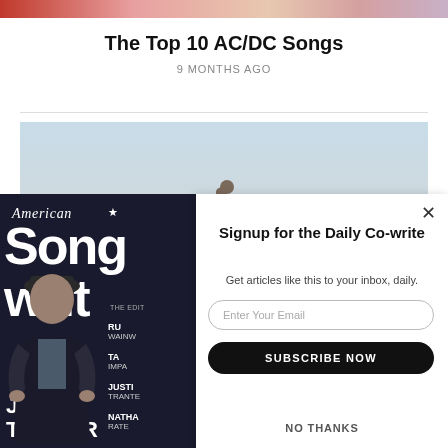[Figure (photo): Top strip image showing band or background]
The Top 10 AC/DC Songs
9 MONTHS AGO
[Figure (photo): Photo of the AC/DC band members posed against a light blue/grey background, one member with fist raised]
[Figure (photo): American Songwriter magazine cover featuring James Taylor seated, wearing a cap and dark jacket. Cover lines include Rufus Wainwright, Tame Impala, Justin Tranter, Nathan Rateliff]
[Figure (screenshot): Email signup modal popup - Signup for the Daily Co-write. Get articles like this to your inbox, daily. Email input field, Subscribe Now button, No Thanks link.]